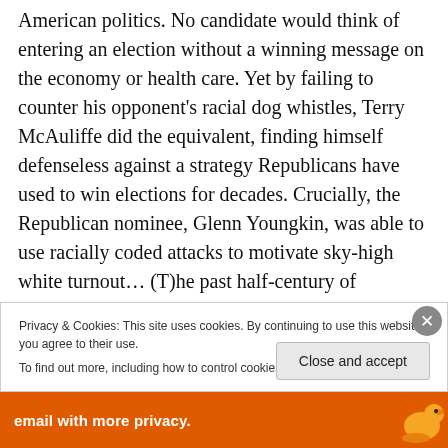American politics. No candidate would think of entering an election without a winning message on the economy or health care. Yet by failing to counter his opponent's racial dog whistles, Terry McAuliffe did the equivalent, finding himself defenseless against a strategy Republicans have used to win elections for decades. Crucially, the Republican nominee, Glenn Youngkin, was able to use racially coded attacks to motivate sky-high white turnout… (T)he past half-century of American political history shows that racially coded attacks are how Republicans have
Privacy & Cookies: This site uses cookies. By continuing to use this website, you agree to their use.
To find out more, including how to control cookies, see here: Cookie Policy
Close and accept
email with more privacy.